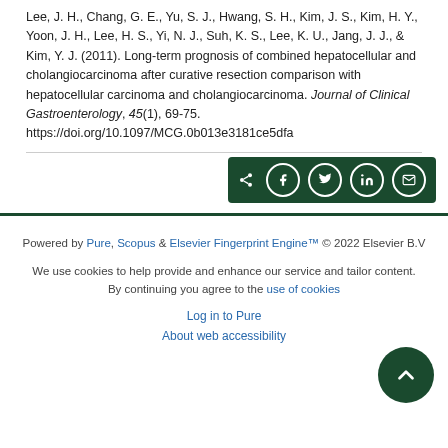Lee, J. H., Chang, G. E., Yu, S. J., Hwang, S. H., Kim, J. S., Kim, H. Y., Yoon, J. H., Lee, H. S., Yi, N. J., Suh, K. S., Lee, K. U., Jang, J. J., & Kim, Y. J. (2011). Long-term prognosis of combined hepatocellular and cholangiocarcinoma after curative resection comparison with hepatocellular carcinoma and cholangiocarcinoma. Journal of Clinical Gastroenterology, 45(1), 69-75. https://doi.org/10.1097/MCG.0b013e3181ce5dfa
[Figure (other): Social share buttons bar with dark green background containing share, Facebook, Twitter, LinkedIn, and email icons]
Powered by Pure, Scopus & Elsevier Fingerprint Engine™ © 2022 Elsevier B.V
We use cookies to help provide and enhance our service and tailor content. By continuing you agree to the use of cookies
Log in to Pure
About web accessibility